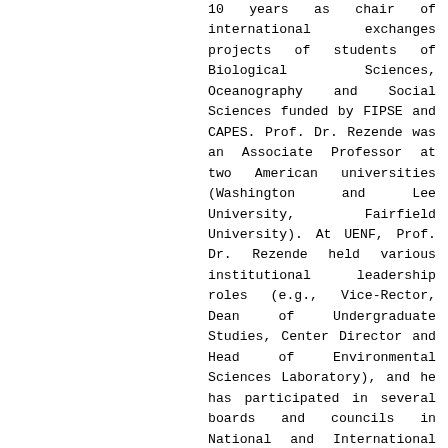10 years as chair of international exchanges projects of students of Biological Sciences, Oceanography and Social Sciences funded by FIPSE and CAPES. Prof. Dr. Rezende was an Associate Professor at two American universities (Washington and Lee University, Fairfield University). At UENF, Prof. Dr. Rezende held various institutional leadership roles (e.g., Vice-Rector, Dean of Undergraduate Studies, Center Director and Head of Environmental Sciences Laboratory), and he has participated in several boards and councils in National and International levels. Actually, Prof. Dr. Rezende is conducting studies on Hg and inorganic geochemical supports (e.g. .: Al, Fe, Mn, carbonate) and organic (e.g. elemental and isotopic